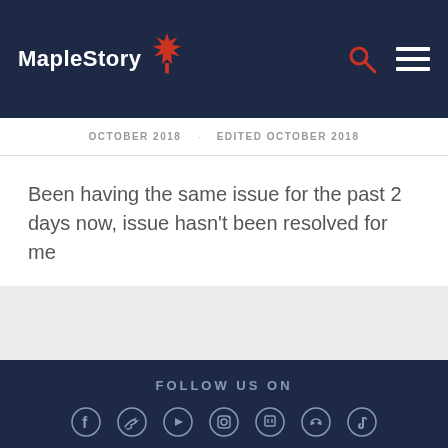MapleStory
OCTOBER 2018   EDITED OCTOBER 2018
Been having the same issue for the past 2 days now, issue hasn't been resolved for me
FOLLOW US ON